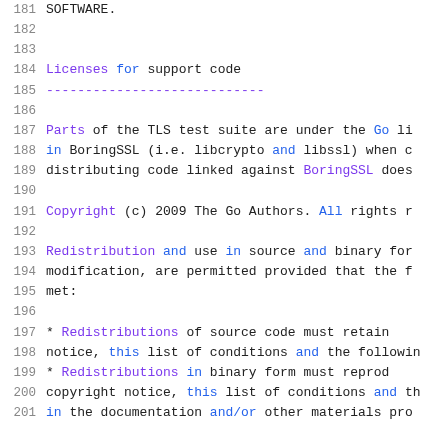181   SOFTWARE.
182
183
184   Licenses for support code
185   ----------------------------
186
187   Parts of the TLS test suite are under the Go li
188   in BoringSSL (i.e. libcrypto and libssl) when co
189   distributing code linked against BoringSSL does
190
191   Copyright (c) 2009 The Go Authors. All rights re
192
193   Redistribution and use in source and binary for
194   modification, are permitted provided that the f
195   met:
196
197       * Redistributions of source code must retain
198   notice, this list of conditions and the followin
199       * Redistributions in binary form must reprod
200   copyright notice, this list of conditions and th
201   in the documentation and/or other materials pro